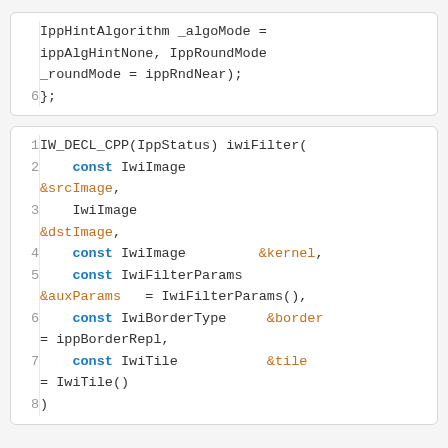[Figure (screenshot): Code block (continuation) showing lines with IppHintAlgorithm _algoMode = ippAlgHintNone, IppRoundMode _roundMode = ippRndNear); line 6: };]
[Figure (screenshot): Code block showing iwiFilter function declaration with lines 1-8, including const IwiImage &srcImage, IwiImage &dstImage, const IwiImage &kernel, const IwiFilterParams &auxParams = IwiFilterParams(), const IwiBorderType &border = ippBorderRepl, const IwiTile &tile = IwiTile(), )]